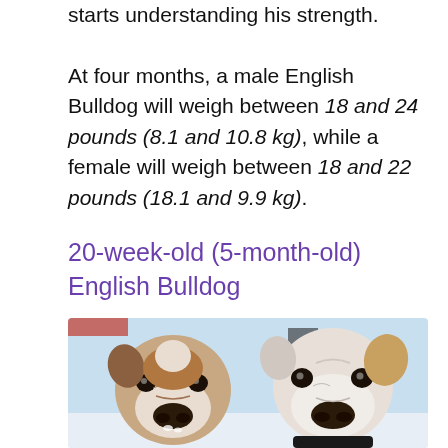starts understanding his strength.

At four months, a male English Bulldog will weigh between 18 and 24 pounds (8.1 and 10.8 kg), while a female will weigh between 18 and 22 pounds (18.1 and 9.9 kg).
20-week-old (5-month-old) English Bulldog
[Figure (photo): Photo of two English Bulldog puppies looking up at the camera, one brown and white on the left, one white on the right, outdoors in a snowy setting.]